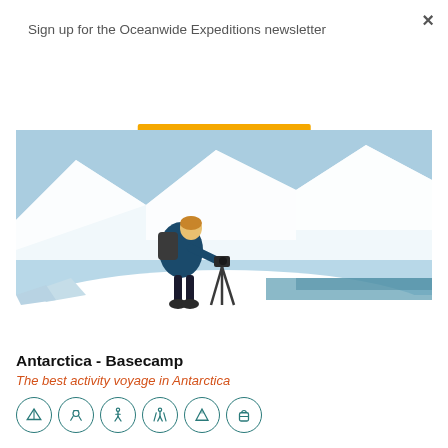×
Sign up for the Oceanwide Expeditions newsletter
Subscribe
[Figure (photo): Photographer with backpack and tripod on snowy Antarctic landscape with snow-covered mountains in background]
Antarctica - Basecamp
The best activity voyage in Antarctica
[Figure (illustration): Row of six teal activity icons in circles: tent/camping, diving, hiking, trekking with poles, mountain, and bag/luggage]